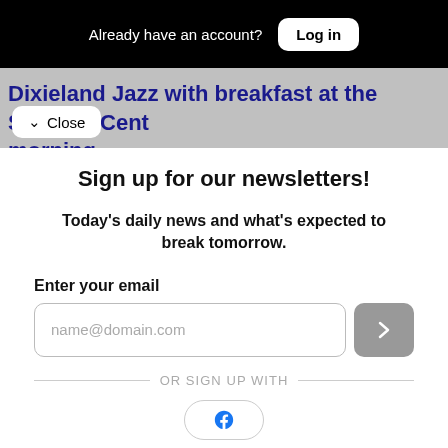Already have an account? Log in
Dixieland Jazz with breakfast at the Seniors' Cent... morning
Close
Sign up for our newsletters!
Today's daily news and what's expected to break tomorrow.
Enter your email
name@domain.com
OR SIGN UP WITH